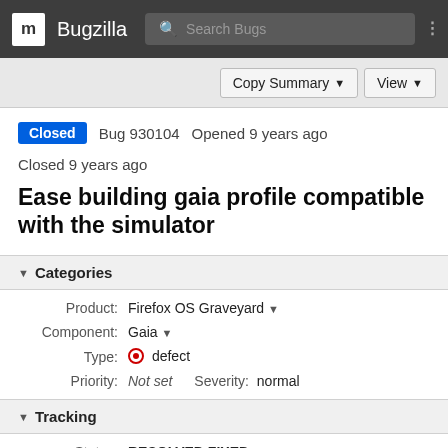m Bugzilla Search Bugs
Copy Summary ▼   View ▼
Closed  Bug 930104  Opened 9 years ago  Closed 9 years ago
Ease building gaia profile compatible with the simulator
▼ Categories
Product: Firefox OS Graveyard ▼
Component: Gaia ▼
Type: ⊙ defect
Priority: Not set   Severity: normal
▼ Tracking
Status: RESOLVED FIXED
▶ People (Reporter: ochameau, Assigned: ochameau)